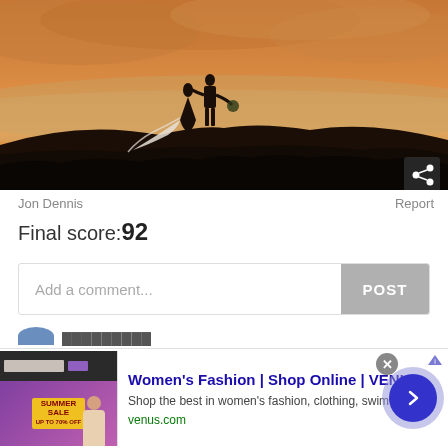[Figure (photo): Wedding couple silhouetted against a warm orange sunset sky with clouds and misty mountains. Bride in white gown, groom in dark suit holding flowers. Share icon button in bottom-right corner.]
Jon Dennis
Report
Final score:92
Add a comment...
POST
[Figure (screenshot): Advertisement banner: Women's Fashion | Shop Online | VENUS. Shop the best in women's fashion, clothing, swimwear. venus.com. Close button (X) and AdChoices icon visible. Navigation arrow button on right.]